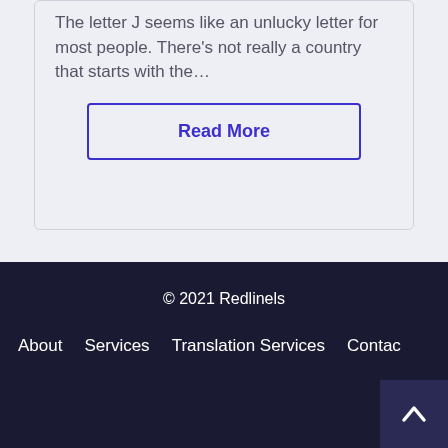The letter J seems like an unlucky letter for most people. There’s not really a country that starts with the…
Read More
© 2021 Redlinels
About   Services   Translation Services   Contac